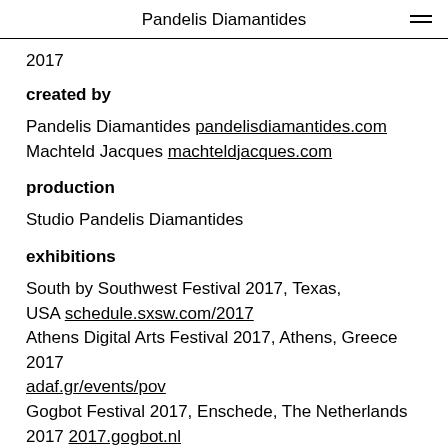Pandelis Diamantides
2017
created by
Pandelis Diamantides pandelisdiamantides.com
Machteld Jacques machteldjacques.com
production
Studio Pandelis Diamantides
exhibitions
South by Southwest Festival 2017, Texas, USA schedule.sxsw.com/2017
Athens Digital Arts Festival 2017, Athens, Greece 2017 adaf.gr/events/pov
Gogbot Festival 2017, Enschede, The Netherlands 2017 2017.gogbot.nl